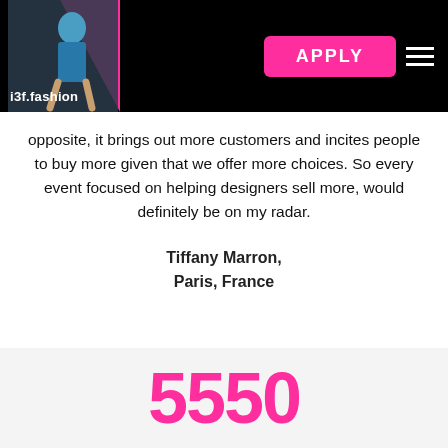[Figure (screenshot): Navigation bar with i3f.fashion logo (photo of model in blue outfit with pink background), APPLY button in magenta, and hamburger menu icon on black background]
opposite, it brings out more customers and incites people to buy more given that we offer more choices. So every event focused on helping designers sell more, would definitely be on my radar.
Tiffany Marron,
Paris, France
[Figure (other): Bottom gray section with large magenta number/text beginning '55' partially visible]